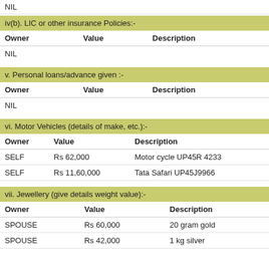NIL
iv(b). LIC or other insurance Policies:-
| Owner | Value | Description |
| --- | --- | --- |
| NIL |  |  |
v. Personal loans/advance given :-
| Owner | Value | Description |
| --- | --- | --- |
| NIL |  |  |
vi. Motor Vehicles (details of make, etc.):-
| Owner | Value | Description |
| --- | --- | --- |
| SELF | Rs 62,000 | Motor cycle UP45R 4233 |
| SELF | Rs 11,60,000 | Tata Safari UP45J9966 |
vii. Jewellery (give details weight value):-
| Owner | Value | Description |
| --- | --- | --- |
| SPOUSE | Rs 60,000 | 20 gram gold |
| SPOUSE | Rs 42,000 | 1 kg silver |